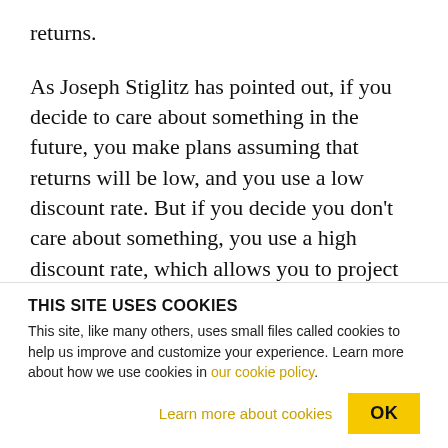returns.
As Joseph Stiglitz has pointed out, if you decide to care about something in the future, you make plans assuming that returns will be low, and you use a low discount rate. But if you decide you don't care about something, you use a high discount rate, which allows you to project high future returns and lets you off the hook for investing in the fund right now. Pension stewards have often based their projections on periods of unusually high stock market returns.
THIS SITE USES COOKIES
This site, like many others, uses small files called cookies to help us improve and customize your experience. Learn more about how we use cookies in our cookie policy.
Learn more about cookies
OK